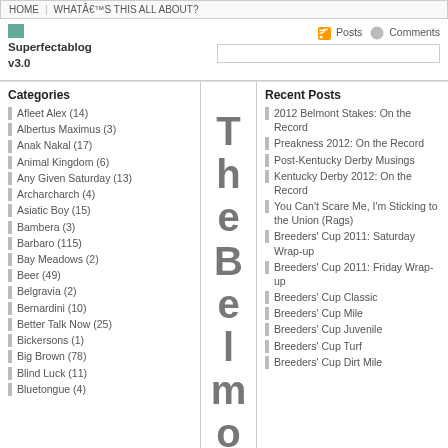HOME   WHATÂ€™S THIS ALL ABOUT?
Superfectablog v3.0
Posts   Comments
Categories
Afleet Alex (14)
Albertus Maximus (3)
Anak Nakal (17)
Animal Kingdom (6)
Any Given Saturday (13)
Archarcharch (4)
Asiatic Boy (15)
Bambera (3)
Barbaro (115)
Bay Meadows (2)
Beer (49)
Belgravia (2)
Bernardini (10)
Better Talk Now (25)
Bickersons (1)
Big Brown (78)
Blind Luck (11)
Bluetongue (4)
Recent Posts
2012 Belmont Stakes: On the Record
Preakness 2012: On the Record
Post-Kentucky Derby Musings
Kentucky Derby 2012: On the Record
You Can't Scare Me, I'm Sticking to the Union (Rags)
Breeders' Cup 2011: Saturday Wrap-up
Breeders' Cup 2011: Friday Wrap-up
Breeders' Cup Classic
Breeders' Cup Mile
Breeders' Cup Juvenile
Breeders' Cup Turf
Breeders' Cup Dirt Mile